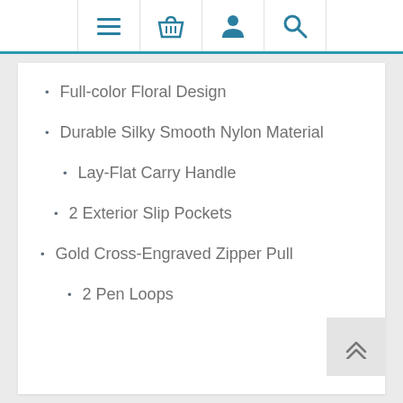Navigation bar with menu, basket, account, and search icons
Full-color Floral Design
Durable Silky Smooth Nylon Material
Lay-Flat Carry Handle
2 Exterior Slip Pockets
Gold Cross-Engraved Zipper Pull
2 Pen Loops